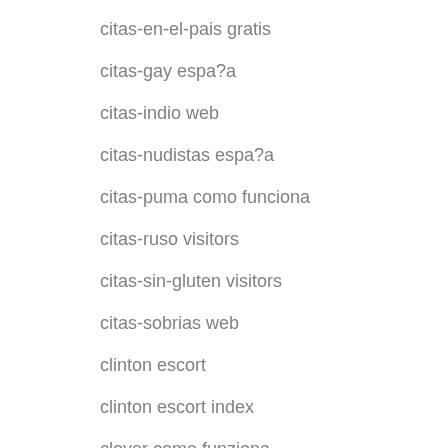citas-en-el-pais gratis
citas-gay espa?a
citas-indio web
citas-nudistas espa?a
citas-puma como funciona
citas-ruso visitors
citas-sin-gluten visitors
citas-sobrias web
clinton escort
clinton escort index
clover come funziona
clover dating visitors
clovis escort
clovis escort index
cofee meet bagel review